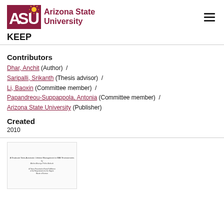Arizona State University KEEP
Contributors
Dhar, Anchit (Author) / Saripalli, Srikanth (Thesis advisor) / Li, Baoxin (Committee member) / Papandreou-Suppappola, Antonia (Committee member) / Arizona State University (Publisher)
Created
2010
[Figure (other): Thumbnail preview of a document page with title text about graduate thesis on Lifetime Management in MAV environments by Arizona State University, including a partial title and submission statement.]